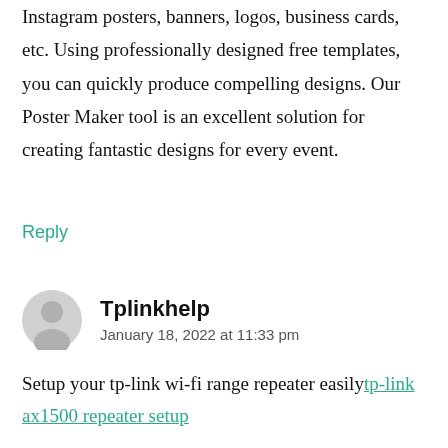Instagram posters, banners, logos, business cards, etc. Using professionally designed free templates, you can quickly produce compelling designs. Our Poster Maker tool is an excellent solution for creating fantastic designs for every event.
Reply
Tplinkhelp
January 18, 2022 at 11:33 pm
Setup your tp-link wi-fi range repeater easilytp-link ax1500 repeater setup